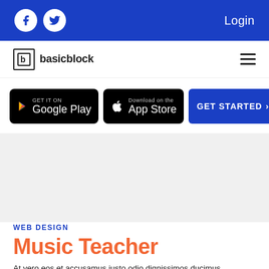Login
[Figure (logo): basicblock brand logo with icon]
[Figure (screenshot): GET IT ON Google Play button]
[Figure (screenshot): Download on the App Store button]
[Figure (screenshot): GET STARTED button]
[Figure (photo): Gray placeholder/image section]
WEB DESIGN
Music Teacher
At vero eos et accusamus iusto odio dignissimos ducimus